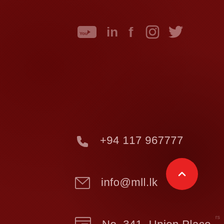[Figure (other): Social media icons row: YouTube, LinkedIn, Facebook, Instagram, Twitter on dark red leather texture background]
+94 117 967777
info@mll.lk
No. 341, Union Place, Colombo 02, Sri Lanka